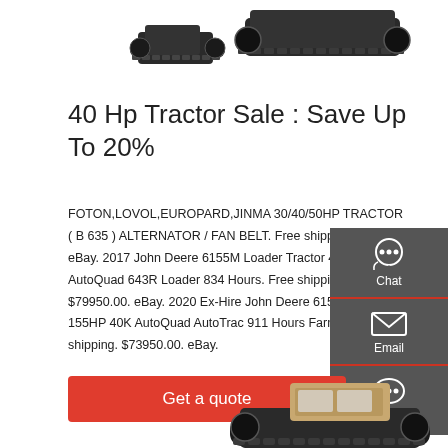[Figure (photo): Two dark crawler/track tractors viewed from above/side against white background]
40 Hp Tractor Sale : Save Up To 20%
FOTON,LOVOL,EUROPARD,JINMA 30/40/50HP TRACTOR ( B 635 ) ALTERNATOR / FAN BELT. Free shipping. $18.00. eBay. 2017 John Deere 6155M Loader Tractor 40K 155HP AutoQuad 643R Loader 834 Hours. Free shipping. $79950.00. eBay. 2020 Ex-Hire John Deere 6155M Tractor 155HP 40K AutoQuad AutoTrac 911 Hours Farm. Free shipping. $73950.00. eBay.
[Figure (infographic): Dark grey sidebar with Chat (headset icon), Email (envelope icon), and Contact (speech bubble icon) buttons]
[Figure (photo): Get a quote red button]
[Figure (photo): Crawler tractor with cab, bottom of page, partially visible]